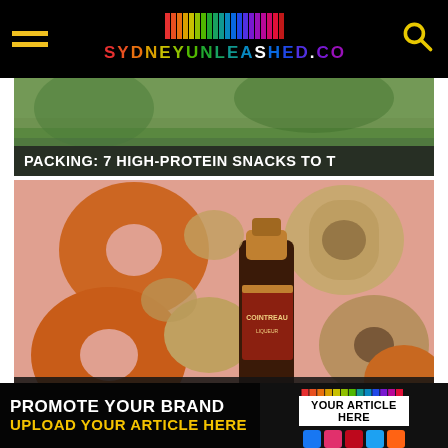SYDNEYUNLEASHED.COM
[Figure (screenshot): Partially visible article card with nature background image and title overlay: PACKING: 7 HIGH-PROTEIN SNACKS TO T]
[Figure (photo): Article card showing Cointreau bottle surrounded by donuts on pink background. Title overlay: COINTREAU & DONUT PAPI LAUNCH MAR...]
[Figure (photo): Partially visible article card showing person against light background]
PROMOTE YOUR BRAND UPLOAD YOUR ARTICLE HERE | YOUR ARTICLE HERE